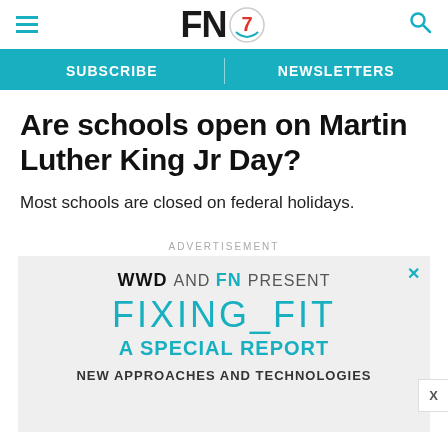FN7 — SUBSCRIBE | NEWSLETTERS
Are schools open on Martin Luther King Jr Day?
Most schools are closed on federal holidays.
[Figure (screenshot): Advertisement box: WWD AND FN PRESENT FIXING_FIT A SPECIAL REPORT NEW APPROACHES AND TECHNOLOGIES]